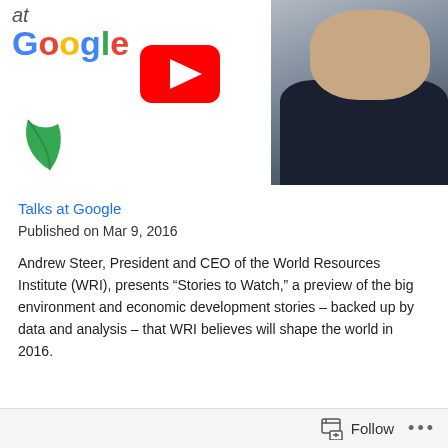[Figure (screenshot): Video thumbnail showing a man speaking at a podium with a microphone, overlaid with a YouTube play button icon. The left side shows text 'at Google' with the Google logo in multicolor and a green leaf icon (WRI logo).]
Talks at Google
Published on Mar 9, 2016
Andrew Steer, President and CEO of the World Resources Institute (WRI), presents “Stories to Watch,” a preview of the big environment and economic development stories – backed up by data and analysis – that WRI believes will shape the world in 2016.
Follow